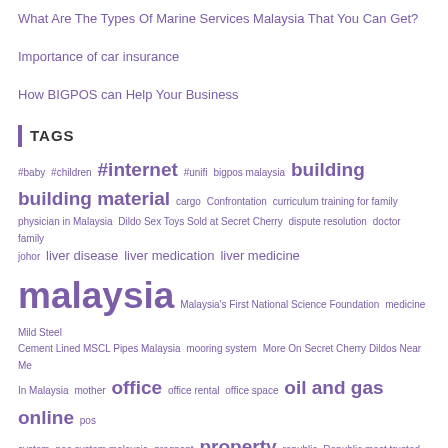What Are The Types Of Marine Services Malaysia That You Can Get?
Importance of car insurance
How BIGPOS can Help Your Business
TAGS
#baby #children #internet #unifi bigpos malaysia building building material cargo Confrontation curriculum training for family physician in Malaysia Dildo Sex Toys Sold at Secret Cherry dispute resolution doctor family johor liver disease liver medication liver medicine malaysia Malaysia's First National Science Foundation medicine Mild Steel Cement Lined MSCL Pipes Malaysia mooring system More On Secret Cherry Dildos Near Me In Malaysia mother office office rental office space oil and gas online pos system pos system malaysia pregnant property republic Republic most trusted seo